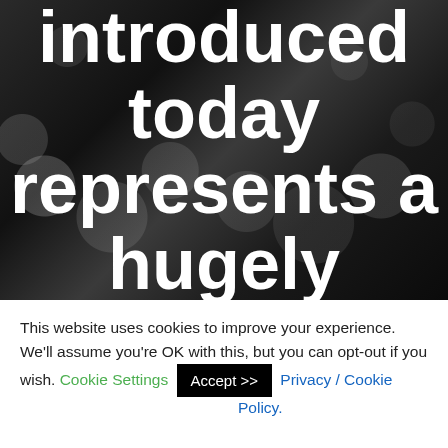[Figure (photo): Black and white photograph of a crowd scene with balloons, overlaid with large white bold text reading 'introduced today represents a hugely important and']
This website uses cookies to improve your experience. We'll assume you're OK with this, but you can opt-out if you wish. Cookie Settings  Accept >>  Privacy / Cookie Policy.